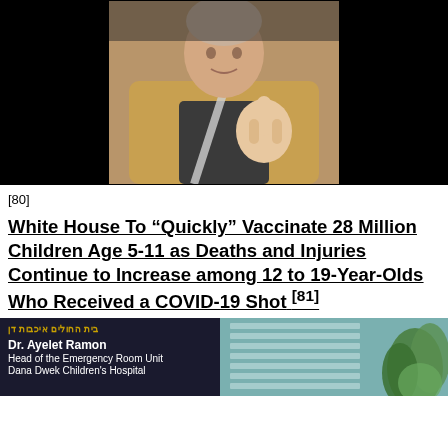[Figure (photo): Photo of a man wearing a tan/brown jacket in a car, making a gesture with his hand, black background on sides]
[80]
White House To “Quickly” Vaccinate 28 Million Children Age 5-11 as Deaths and Injuries Continue to Increase among 12 to 19-Year-Olds Who Received a COVID-19 Shot [81]
[Figure (photo): Screenshot of a news broadcast showing Dr. Ayelet Ramon, Head of the Emergency Room Unit, Dana Dwek Children's Hospital, with Hebrew text overlay at top]